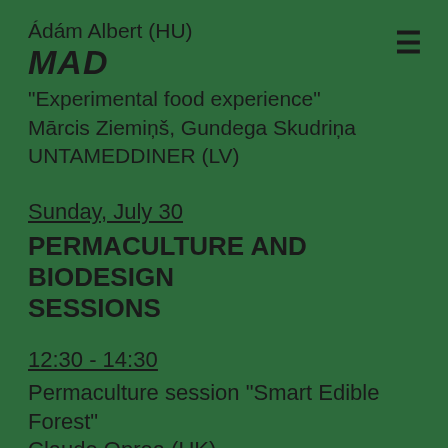Ádám Albert (HU)
MAD
“Experimental food experience”
Mārcis Ziemiņš, Gundega Skudriņa
UNTAMEDDINER (LV)
Sunday, July 30
PERMACULTURE AND BIODESIGN SESSIONS
12:30 - 14:30
Permaculture session “Smart Edible Forest”
Claude Oprea (UK)